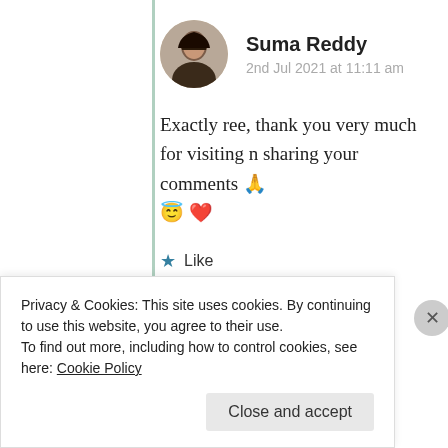Suma Reddy
2nd Jul 2021 at 11:11 am
Exactly ree, thank you very much for visiting n sharing your comments 🙏 😇 ❤️
★ Like
Log in to Reply
Advertisements
Privacy & Cookies: This site uses cookies. By continuing to use this website, you agree to their use.
To find out more, including how to control cookies, see here: Cookie Policy
Close and accept